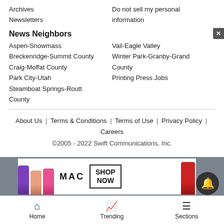Archives
Newsletters
Do not sell my personal information
News Neighbors
Aspen-Snowmass
Breckenridge-Summit County
Craig-Moffat County
Park City-Utah
Steamboat Springs-Routt County
Vail-Eagle Valley
Winter Park-Granby-Grand County
Printing Press Jobs
About Us  |  Terms & Conditions  |  Terms of Use  |  Privacy Policy  |  Careers
©2005 - 2022 Swift Communications, Inc.
[Figure (screenshot): MAC cosmetics advertisement with lipsticks and Shop Now button]
Home  Trending  Sections